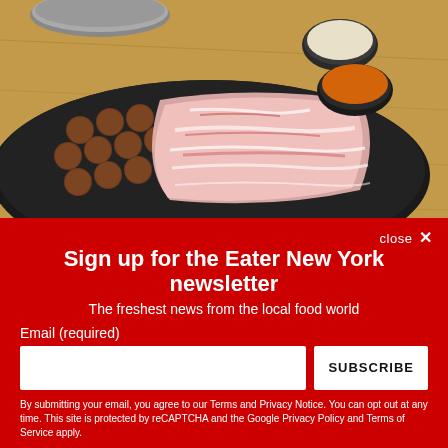[Figure (photo): Food photo showing a black tray with meatballs and sliced raw meat (likely pork belly), alongside two small bowls of dipping sauce on a wooden table.]
close ✕
Sign up for the Eater New York newsletter
The freshest news from the local food world
Email (required)
SUBSCRIBE
By submitting your email, you agree to our Terms and Privacy Notice. You can opt out at any time. This site is protected by reCAPTCHA and the Google Privacy Policy and Terms of Service apply.